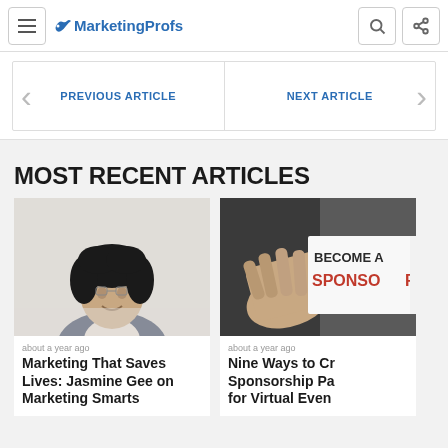MarketingProfs
PREVIOUS ARTICLE | NEXT ARTICLE
MOST RECENT ARTICLES
[Figure (photo): Smiling woman with curly hair in a blazer against a light background]
about a year ago
Marketing That Saves Lives: Jasmine Gee on Marketing Smarts
[Figure (photo): Hand holding a card that reads BECOME A SPONSOR against a dark background]
about a year ago
Nine Ways to Cr... Sponsorship Pa... for Virtual Even...